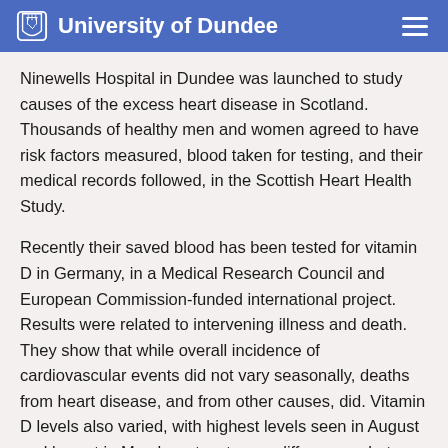University of Dundee
Ninewells Hospital in Dundee was launched to study causes of the excess heart disease in Scotland. Thousands of healthy men and women agreed to have risk factors measured, blood taken for testing, and their medical records followed, in the Scottish Heart Health Study.
Recently their saved blood has been tested for vitamin D in Germany, in a Medical Research Council and European Commission-funded international project. Results were related to intervening illness and death.  They show that while overall incidence of cardiovascular events did not vary seasonally, deaths from heart disease, and from other causes, did. Vitamin D levels also varied, with highest levels seen in August and lowest in March - a two-to-one difference – but crucially this was several weeks after peak winter death rates, so changes in vitamin D were too late to be the cause.
People with lower vitamin D levels did have higher rates of